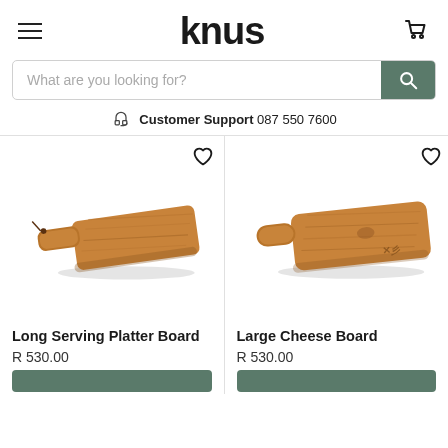knus — navigation header with hamburger menu, logo, and cart icon
What are you looking for?
Customer Support 087 550 7600
[Figure (photo): Long Serving Platter Board — wooden cutting board with handle and leather cord, angled view]
Long Serving Platter Board
R 530.00
[Figure (photo): Large Cheese Board — wooden cutting board with rounded handle, angled view with brand mark]
Large Cheese Board
R 530.00